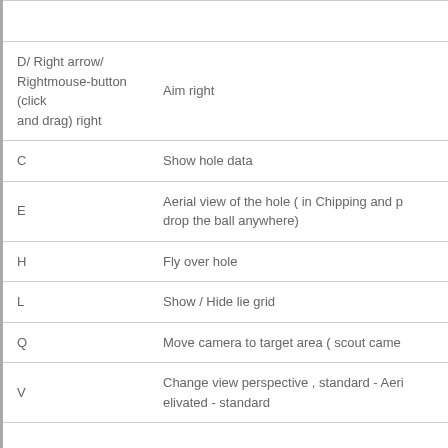| Key | Action |
| --- | --- |
| D/ Right arrow/ Rightmouse-button (click and drag) right | Aim right |
| C | Show hole data |
| E | Aerial view of the hole ( in Chipping and p drop the ball anywhere) |
| H | Fly over hole |
| L | Show / Hide lie grid |
| Q | Move camera to target area ( scout came |
| V | Change view perspective , standard - Aeri elivated - standard |